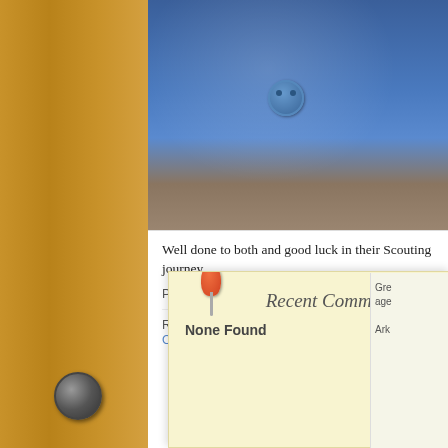[Figure (photo): Cropped photo showing a blue scout uniform with button detail and what appears to be a scout emblem/badge area. Partial view of another item (possibly a wooden instrument) on the right.]
Well done to both and good luck in their Scouting journey
Posted in Group | Comments Off
Recent News: No Scout Meeting Tuesday 27 October 2015 » «
[Figure (illustration): Pencil sketch drawings of spiral/nautilus shell shapes and what appears to be a sailboat sketch on the cork board background.]
Recent Comments
None Found
Gre age Ark